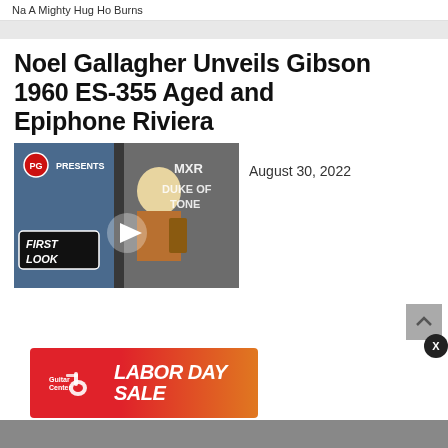Na A Mighty Hug Ho Burns
Noel Gallagher Unveils Gibson 1960 ES-355 Aged and Epiphone Riviera
[Figure (screenshot): Video thumbnail showing PG Presents First Look segment with a musician holding a guitar, text overlay MXR Duke of Tone, play button in center]
August 30, 2022
[Figure (infographic): Guitar Center Labor Day Sale advertisement banner with red-to-orange gradient, Guitar Center logo on left and LABOR DAY SALE text on right in white italic bold font]